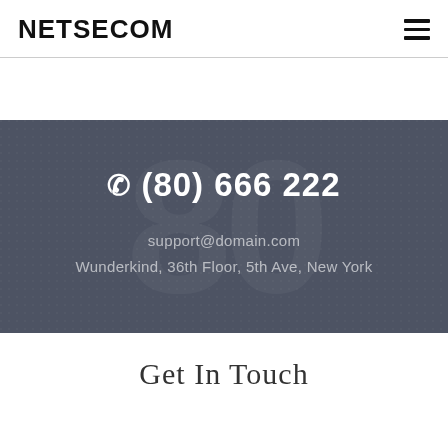NETSECOM
☎ (80) 666 222
support@domain.com
Wunderkind, 36th Floor, 5th Ave, New York
Get In Touch